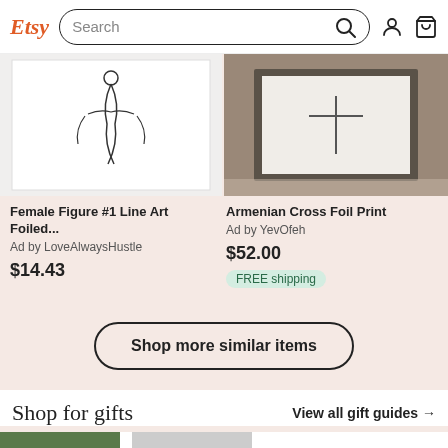Etsy Search
[Figure (screenshot): Product image left: Female figure line art foiled print, white background with minimalist line drawing]
Female Figure #1 Line Art Foiled...
Ad by LoveAlwaysHustle
$14.43
[Figure (screenshot): Product image right: Armenian Cross Foil Print in a decorative frame on a surface]
Armenian Cross Foil Print
Ad by YevOfeh
$52.00
FREE shipping
Shop more similar items
Shop for gifts
View all gift guides →